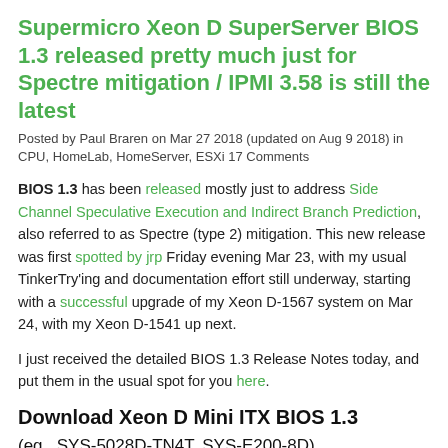Supermicro Xeon D SuperServer BIOS 1.3 released pretty much just for Spectre mitigation / IPMI 3.58 is still the latest
Posted by Paul Braren on Mar 27 2018 (updated on Aug 9 2018) in CPU, HomeLab, HomeServer, ESXi 17 Comments
BIOS 1.3 has been released mostly just to address Side Channel Speculative Execution and Indirect Branch Prediction, also referred to as Spectre (type 2) mitigation. This new release was first spotted by jrp Friday evening Mar 23, with my usual TinkerTry'ing and documentation effort still underway, starting with a successful upgrade of my Xeon D-1567 system on Mar 24, with my Xeon D-1541 up next.
I just received the detailed BIOS 1.3 Release Notes today, and put them in the usual spot for you here.
Download Xeon D Mini ITX BIOS 1.3
(eg., SYS-5028D-TN4T, SYS-E200-8D)